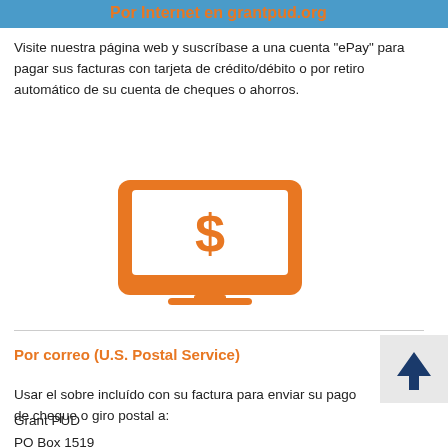Por Internet en grantpud.org
Visite nuestra página web y suscríbase a una cuenta "ePay" para pagar sus facturas con tarjeta de crédito/débito o por retiro automático de su cuenta de cheques o ahorros.
[Figure (illustration): Orange monitor/computer screen icon with a dollar sign displayed on screen, representing online payment]
Por correo (U.S. Postal Service)
Usar el sobre incluído con su factura para enviar su pago de cheque o giro postal a:
Grant PUD
PO Box 1519
Moses Lake, WA 98837